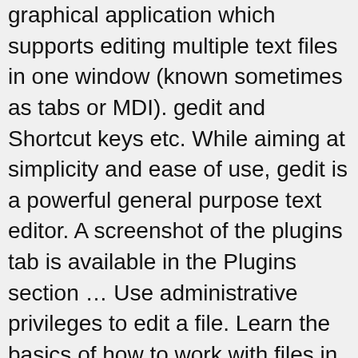graphical application which supports editing multiple text files in one window (known sometimes as tabs or MDI). gedit and Shortcut keys etc. While aiming at simplicity and ease of use, gedit is a powerful general purpose text editor. A screenshot of the plugins tab is available in the Plugins section … Use administrative privileges to edit a file. Learn the basics of how to work with files in gedit. Creative This work is licensed under a Creative 3+ ₹ 434.00. Use a custom font for your text in gedit. This sheet gives the steps to install the gedit Text Editor on Linux and Windows OS. gedit features a flexible plugin system which can be used to dynamically add new advanced features to gedit itself. Learn the basics of how to work with files in gedit. Commons Attribution-ShareAlike 3.0 Unported License. However, you'll notice that gedit becomes unresponsive and you can't use it. You type gedit with each file's name, separated by a space, after the … In the next window press the key combo you prefer. You can use it to prepare simple notes and documents, or you can use some of its advanced features, making it your own software development environment. Change the